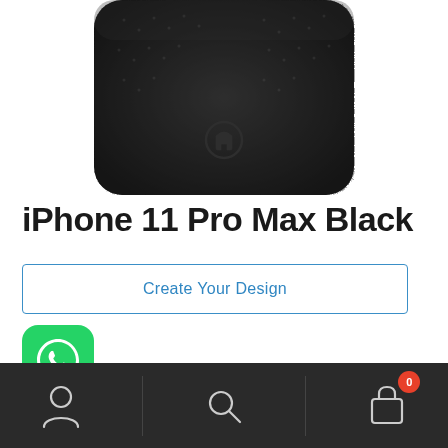[Figure (photo): Bottom portion of a black pebbled leather iPhone 11 Pro Max case with a small embossed logo in the center, photographed against a white background.]
iPhone 11 Pro Max Black
Create Your Design
[Figure (logo): WhatsApp app icon: green rounded square with white phone/speech bubble logo]
Navigation bar with account icon, search icon, and shopping cart icon with badge showing 0